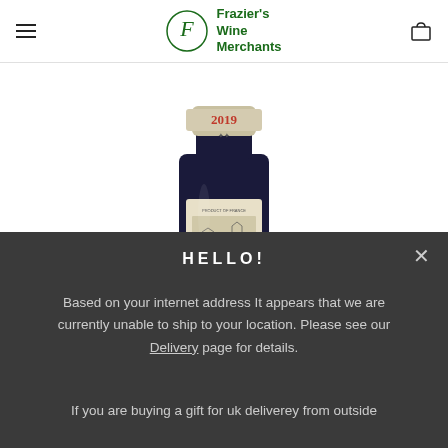Frazier's Wine Merchants
[Figure (photo): Wine bottle with 2019 vintage label showing a chateau illustration, dark bottle with cream-colored label]
HELLO!
Based on your internet address It appears that we are currently unable to ship to your location. Please see our Delivery page for details.
If you are buying a gift for uk deliverey from outside